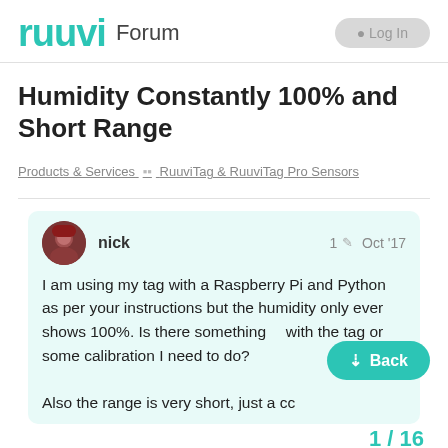ruuvi Forum
Humidity Constantly 100% and Short Range
Products & Services    RuuviTag & RuuviTag Pro Sensors
nick   1   Oct '17

I am using my tag with a Raspberry Pi and Python as per your instructions but the humidity only ever shows 100%. Is there something with the tag or some calibration I need to do?

Also the range is very short, just a cc
1 / 16